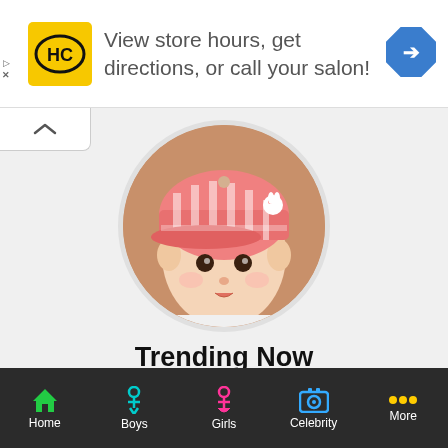[Figure (screenshot): Advertisement banner: HC salon logo (yellow background, black HC letters), text 'View store hours, get directions, or call your salon!', blue navigation arrow icon on the right. Small play and X buttons on the left side.]
[Figure (photo): A cute baby wearing a pink striped baseball cap, displayed in a circular crop. The baby has dark eyes and is wearing white clothing. Background is warm orange/brown.]
Trending Now
See the most awesome name, which people are searching name during last 24 hours.
[Figure (screenshot): Bottom navigation bar with dark background containing 5 items: Home (green house icon), Boys (cyan male figure icon), Girls (pink female figure icon), Celebrity (blue camera icon), More (yellow dots icon). All labels in white text.]